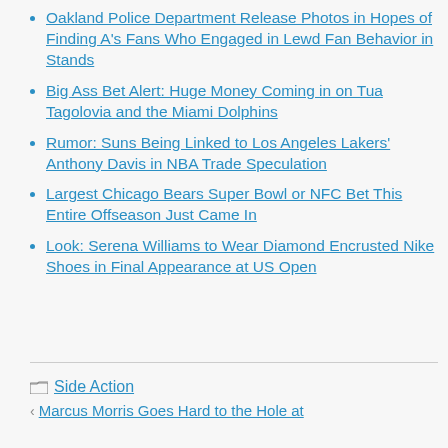Oakland Police Department Release Photos in Hopes of Finding A's Fans Who Engaged in Lewd Fan Behavior in Stands
Big Ass Bet Alert: Huge Money Coming in on Tua Tagolovia and the Miami Dolphins
Rumor: Suns Being Linked to Los Angeles Lakers' Anthony Davis in NBA Trade Speculation
Largest Chicago Bears Super Bowl or NFC Bet This Entire Offseason Just Came In
Look: Serena Williams to Wear Diamond Encrusted Nike Shoes in Final Appearance at US Open
Side Action
Marcus Morris Goes Hard to the Hole at